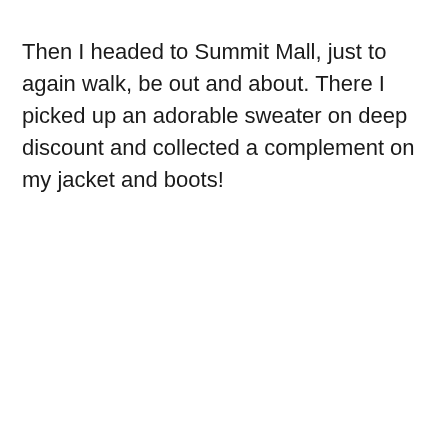Then I headed to Summit Mall, just to again walk, be out and about. There I picked up an adorable sweater on deep discount and collected a complement on my jacket and boots!